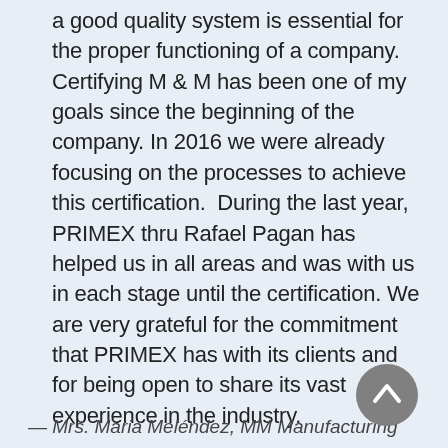a good quality system is essential for the proper functioning of a company. Certifying M & M has been one of my goals since the beginning of the company. In 2016 we were already focusing on the processes to achieve this certification.  During the last year, PRIMEX thru Rafael Pagan has helped us in all areas and was with us in each stage until the certification. We are very grateful for the commitment that PRIMEX has with its clients and for being open to share its vast experience in the industry.
— Mrs. Maria Meléndez, MM Manufacturing